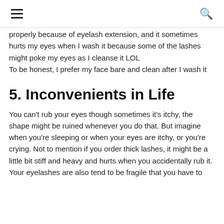[hamburger menu] [search icon]
properly because of eyelash extension, and it sometimes hurts my eyes when I wash it because some of the lashes might poke my eyes as I cleanse it LOL
To be honest, I prefer my face bare and clean after I wash it
5. Inconvenients in Life
You can't rub your eyes though sometimes it's itchy, the shape might be ruined whenever you do that. But imagine when you're sleeping or when your eyes are itchy, or you're crying. Not to mention if you order thick lashes, it might be a little bit stiff and heavy and hurts when you accidentally rub it. Your eyelashes are also tend to be fragile that you have to